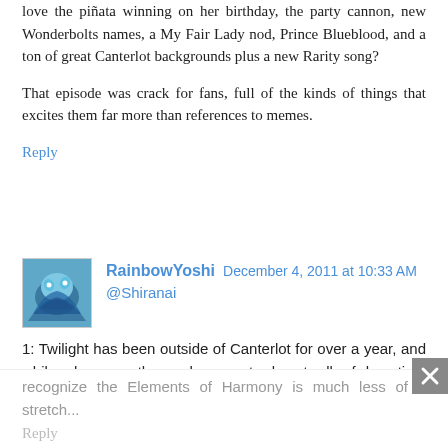love the pinata winning on her birthday, the party cannon, new Wonderbolts names, a My Fair Lady nod, Prince Blueblood, and a ton of great Canterlot backgrounds plus a new Rarity song?
That episode was crack for fans, full of the kinds of things that excites them far more than references to memes.
Reply
RainbowYoshi  December 4, 2011 at 10:33 AM
@Shiranai
1: Twilight has been outside of Canterlot for over a year, and while she was there she spent almost all of her time studying, usually stayed inside the castle, and never went to social functions.
2: When you take a long look at the real world analog of the Canterlot elite, the idea that they are simply so wrapped up in their own little world that they don't recognize the Elements of Harmony is much less of a stretch...
Reply